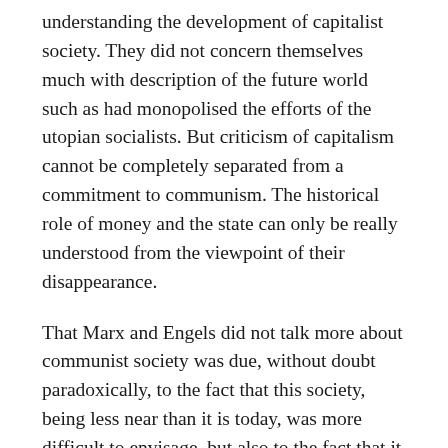understanding the development of capitalist society. They did not concern themselves much with description of the future world such as had monopolised the efforts of the utopian socialists. But criticism of capitalism cannot be completely separated from a commitment to communism. The historical role of money and the state can only be really understood from the viewpoint of their disappearance.
That Marx and Engels did not talk more about communist society was due, without doubt paradoxically, to the fact that this society, being less near than it is today, was more difficult to envisage, but also to the fact that it was more present in the minds of the revolutionaries of their day. When they spoke of the abolition of the wages system in the Communist Manifesto they were understood by those they were